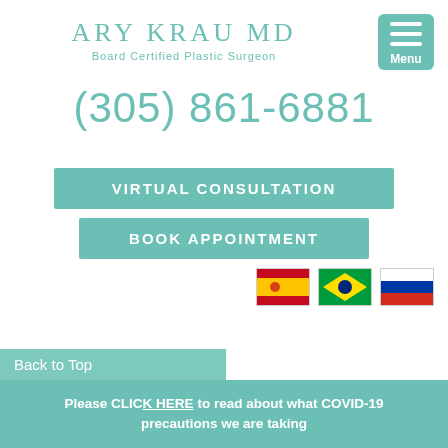ARY KRAU MD
Board Certified Plastic Surgeon
(305) 861-6881
VIRTUAL CONSULTATION
BOOK APPOINTMENT
[Figure (illustration): Three country flags: Spain, Brazil, Russia]
Back to Top
Please CLICK HERE to read about what COVID-19 precautions we are taking